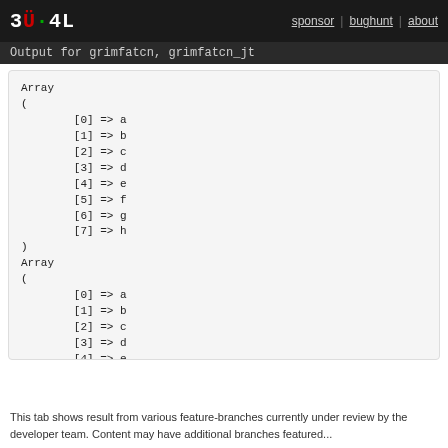3V4L | sponsor | bughunt | about
Output for grimfatcn, grimfatcn_jt
Array
(
        [0] => a
        [1] => b
        [2] => c
        [3] => d
        [4] => e
        [5] => f
        [6] => g
        [7] => h
)
Array
(
        [0] => a
        [1] => b
        [2] => c
        [3] => d
        [4] => e
        [5] => f9
        [6] => g2
        [7] => h1
)
This tab shows result from various feature-branches currently under review by the developer team. Content may have additional branches featured...